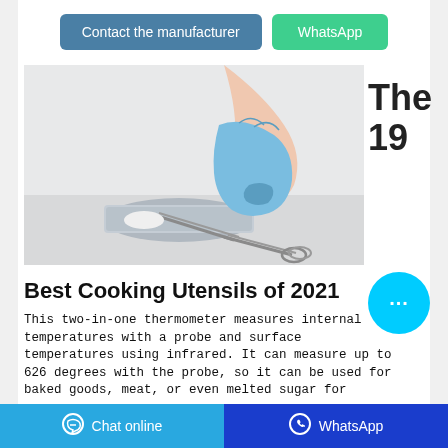Contact the manufacturer
WhatsApp
[Figure (photo): A gloved hand (blue latex glove) holding metal tongs over a stainless steel tray with white material, on a light background.]
The
19
Best Cooking Utensils of 2021
This two-in-one thermometer measures internal temperatures with a probe and surface temperatures using infrared. It can measure up to 626 degrees with the probe, so it can be used for baked goods, meat, or even melted sugar for
Chat online   WhatsApp